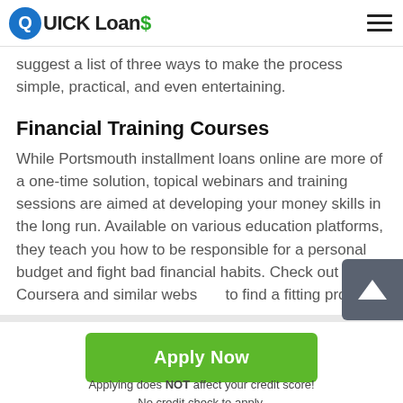QUICK Loans
suggest a list of three ways to make the process simple, practical, and even entertaining.
Financial Training Courses
While Portsmouth installment loans online are more of a one-time solution, topical webinars and training sessions are aimed at developing your money skills in the long run. Available on various education platforms, they teach you how to be responsible for a personal budget and fight bad financial habits. Check out Coursera and similar websites to find a fitting program.
Apply Now
Applying does NOT affect your credit score!
No credit check to apply.